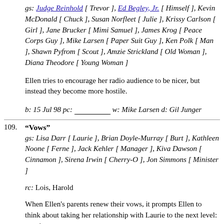gs: Judge Reinhold [ Trevor ], Ed Begley, Jr. [ Himself ], Kevin McDonald [ Chuck ], Susan Norfleet [ Julie ], Krissy Carlson [ Girl ], Jane Brucker [ Mimi Samuel ], James Krog [ Peace Corps Guy ], Mike Larsen [ Paper Suit Guy ], Ken Polk [ Man ], Shawn Pyfrom [ Scout ], Amzie Strickland [ Old Woman ], Diana Theodore [ Young Woman ]
Ellen tries to encourage her radio audience to be nicer, but instead they become more hostile.
b: 15 Jul 98 pc: __________ w: Mike Larsen d: Gil Junger
109. "Vows"
gs: Lisa Darr [ Laurie ], Brian Doyle-Murray [ Burt ], Kathleen Noone [ Ferne ], Jack Kehler [ Manager ], Kiva Dawson [ Cinnamon ], Sirena Irwin [ Cherry-O ], Jon Simmons [ Minister ]
rc: Lois, Harold
When Ellen's parents renew their vows, it prompts Ellen to think about taking her relationship with Laurie to the next level: marriage.
b: 22 Jul 98 pc: __________ w: F.J. Pratt & Dan Cohen d: